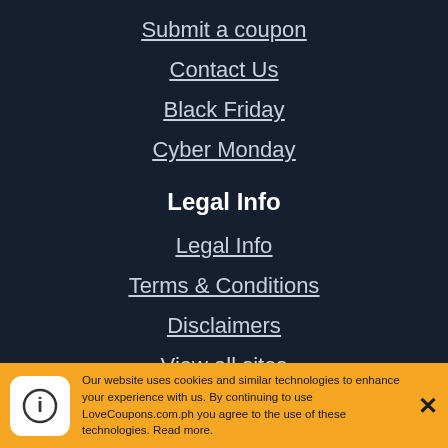Submit a coupon
Contact Us
Black Friday
Cyber Monday
Legal Info
Legal Info
Terms & Conditions
Disclaimers
View all sites
Our website uses cookies and similar technologies to enhance your experience with us. By continuing to use LoveCoupons.com.ph you agree to the use of these technologies. Read more.